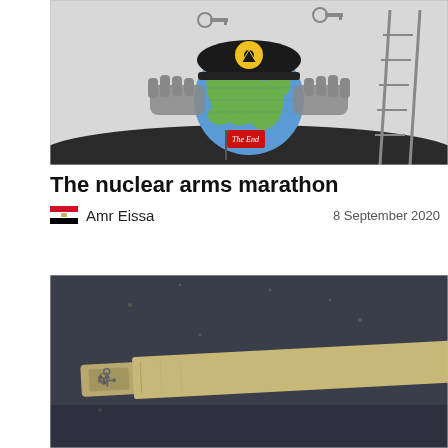[Figure (illustration): Editorial cartoon showing a globe wearing a black miner's helmet with nuclear hazard symbol, held by large hands. A red flag reads 'The End'. A ladder is visible on the right side. Black and white with colored globe (green and blue).]
The nuclear arms marathon
Amr Eissa   8 September 2020
[Figure (illustration): Editorial cartoon showing a USB drive shaped like a missile or weapon, rendered in tan/khaki military colors, on a dark grey background with specks suggesting a night sky or space.]